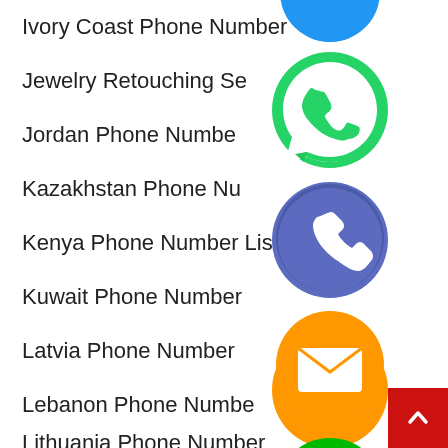Ivory Coast Phone Number
Jewelry Retouching Service
Jordan Phone Number
Kazakhstan Phone Number
Kenya Phone Number List
Kuwait Phone Number
Latvia Phone Number
Lebanon Phone Number
Lithuania Phone Number
[Figure (infographic): Floating social media icons (WhatsApp green, Phone/Viber purple, Email orange, LINE green, Viber purple, Green close button, Blue circle partial at top) overlapping a list of phone number categories on a website]